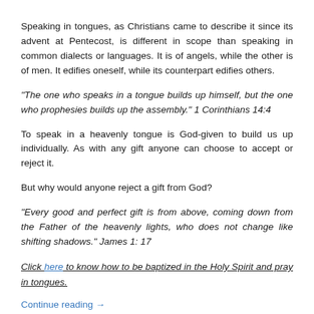Speaking in tongues, as Christians came to describe it since its advent at Pentecost, is different in scope than speaking in common dialects or languages. It is of angels, while the other is of men. It edifies oneself, while its counterpart edifies others.
“The one who speaks in a tongue builds up himself, but the one who prophesies builds up the assembly.” 1 Corinthians 14:4
To speak in a heavenly tongue is God-given to build us up individually. As with any gift anyone can choose to accept or reject it.
But why would anyone reject a gift from God?
“Every good and perfect gift is from above, coming down from the Father of the heavenly lights, who does not change like shifting shadows.” James 1: 17
Click here to know how to be baptized in the Holy Spirit and pray in tongues.
Continue reading →